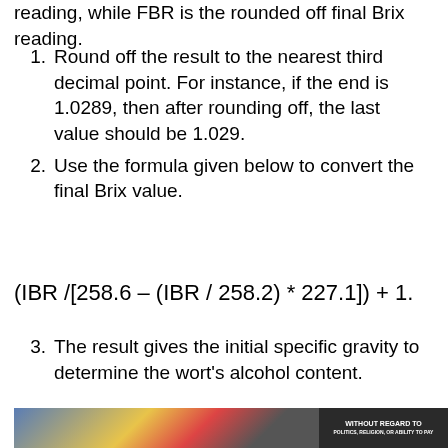reading, while FBR is the rounded off final Brix reading.
Round off the result to the nearest third decimal point. For instance, if the end is 1.0289, then after rounding off, the last value should be 1.029.
Use the formula given below to convert the final Brix value.
The result gives the initial specific gravity to determine the wort's alcohol content.
[Figure (photo): Advertisement banner showing an airplane being loaded with cargo, with text 'WITHOUT REGARD TO' on the right side dark panel]